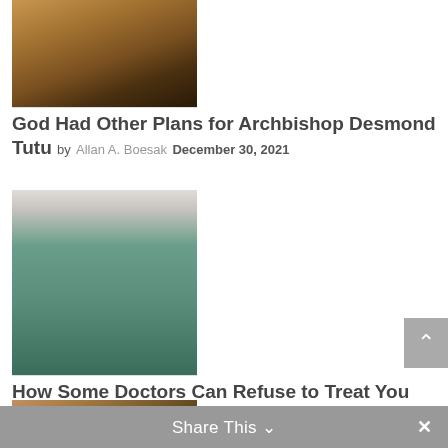[Figure (photo): Close-up photo of an elderly dark-skinned man smiling, partially cropped at top]
God Had Other Plans for Archbishop Desmond Tutu
by Allan A. Boesak December 30, 2021
[Figure (photo): Photo of a person in green scrubs viewed from behind, tying their surgical cap]
How Some Doctors Can Refuse to Treat You
by Monty Self July 6, 2021
[Figure (photo): Partially visible image at bottom of page, cut off]
Share This ∨  ×